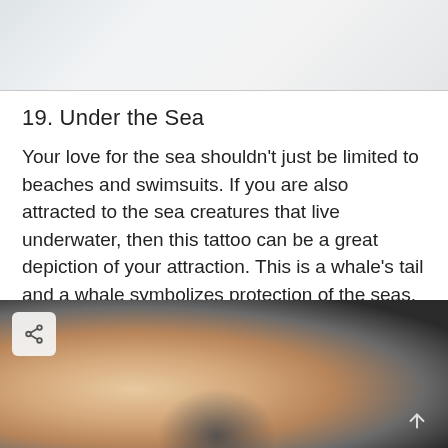[Figure (photo): Top portion of a photo, showing a light gray/white marble or skin surface texture]
19. Under the Sea
Your love for the sea shouldn’t just be limited to beaches and swimsuits. If you are also attracted to the sea creatures that live underwater, then this tattoo can be a great depiction of your attraction. This is a whale’s tail and a whale symbolizes protection of the seas.
[Figure (photo): Close-up photo of a person's wrist/hand area with a whale tail tattoo visible, showing blonde hair and dark fabric background. A share button icon is visible in the top-left corner and an up arrow in the bottom-right corner.]